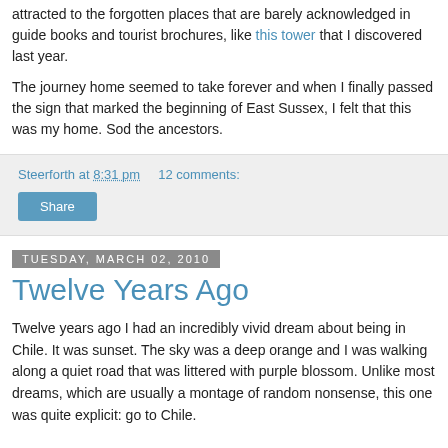attracted to the forgotten places that are barely acknowledged in guide books and tourist brochures, like this tower that I discovered last year.
The journey home seemed to take forever and when I finally passed the sign that marked the beginning of East Sussex, I felt that this was my home. Sod the ancestors.
Steerforth at 8:31 pm   12 comments:
Share
Tuesday, March 02, 2010
Twelve Years Ago
Twelve years ago I had an incredibly vivid dream about being in Chile. It was sunset. The sky was a deep orange and I was walking along a quiet road that was littered with purple blossom. Unlike most dreams, which are usually a montage of random nonsense, this one was quite explicit: go to Chile.